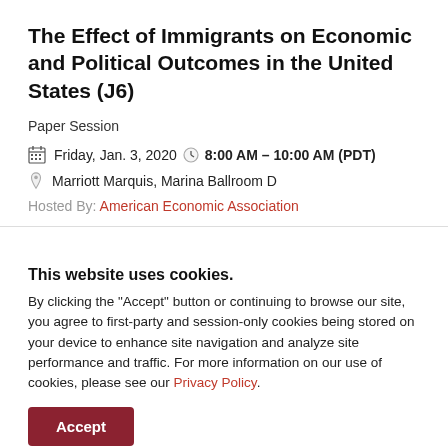The Effect of Immigrants on Economic and Political Outcomes in the United States (J6)
Paper Session
Friday, Jan. 3, 2020  8:00 AM – 10:00 AM (PDT)
Marriott Marquis, Marina Ballroom D
Hosted By: American Economic Association
This website uses cookies.
By clicking the "Accept" button or continuing to browse our site, you agree to first-party and session-only cookies being stored on your device to enhance site navigation and analyze site performance and traffic. For more information on our use of cookies, please see our Privacy Policy.
Accept